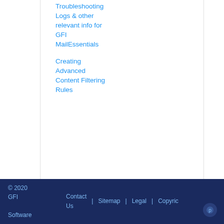Troubleshooting Logs & other relevant info for GFI MailEssentials
Creating Advanced Content Filtering Rules
© 2020 GFI Software   Contact Us | Sitemap | Legal | Copyright